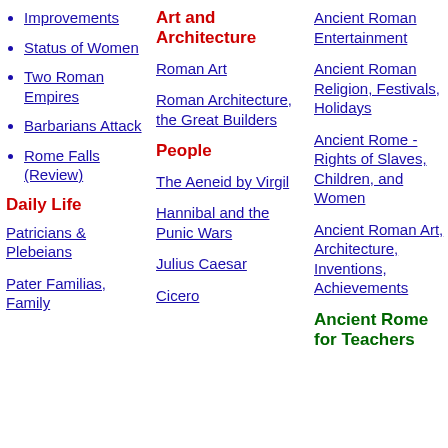Improvements
Status of Women
Two Roman Empires
Barbarians Attack
Rome Falls (Review)
Daily Life
Patricians & Plebeians
Pater Familias, Family
Art and Architecture
Roman Art
Roman Architecture, the Great Builders
People
The Aeneid by Virgil
Hannibal and the Punic Wars
Julius Caesar
Cicero
Ancient Roman Entertainment
Ancient Roman Religion, Festivals, Holidays
Ancient Rome - Rights of Slaves, Children, and Women
Ancient Roman Art, Architecture, Inventions, Achievements
Ancient Rome for Teachers